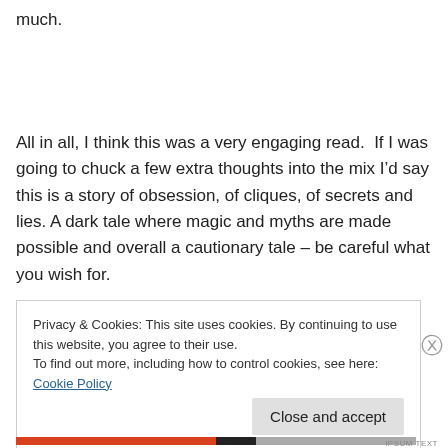much.
All in all, I think this was a very engaging read.  If I was going to chuck a few extra thoughts into the mix I’d say this is a story of obsession, of cliques, of secrets and lies.  A dark tale where magic and myths are made possible and overall a cautionary tale – be careful what you wish for.
Privacy & Cookies: This site uses cookies. By continuing to use this website, you agree to their use.
To find out more, including how to control cookies, see here: Cookie Policy
Close and accept